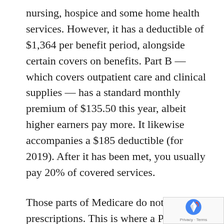nursing, hospice and some home health services. However, it has a deductible of $1,364 per benefit period, alongside certain covers on benefits. Part B — which covers outpatient care and clinical supplies — has a standard monthly premium of $135.50 this year, albeit higher earners pay more. It likewise accompanies a $185 deductible (for 2019). After it has been met, you usually pay 20% of covered services.
Those parts of Medicare do not cover prescriptions. This is where a Part D drug plan comes in. You can get an independent plan to use together with original Medicare. On the other hand, you can also pursue an Advantage